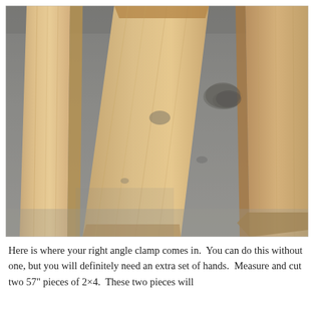[Figure (photo): Photograph of several wooden 2x4 lumber boards laid out on a concrete garage floor, arranged at angles to each other, showing cut ends and grain of light-colored pine wood.]
Here is where your right angle clamp comes in.  You can do this without one, but you will definitely need an extra set of hands.  Measure and cut two 57" pieces of 2×4.  These two pieces will